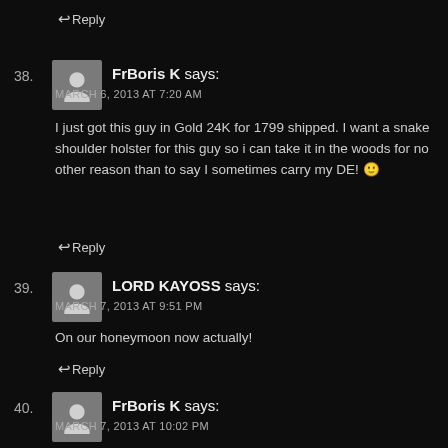↩ Reply
38. FrBoris K says:
MARCH 6, 2013 AT 7:20 AM
I just got this guy in Gold 24K for 1799 shipped. I want a snake shoulder holster for this guy so i can take it in the woods for no other reason than to say I sometimes carry my DE! 🙂
↩ Reply
39. LORD KAYOSS says:
MARCH 7, 2013 AT 9:51 PM
On our honeymoon now actually!
↩ Reply
40. FrBoris K says:
MARCH 7, 2013 AT 10:02 PM